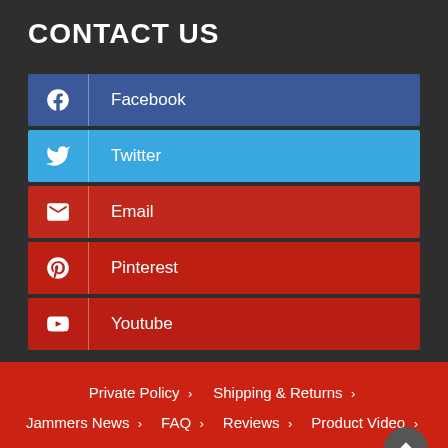CONTACT US
Facebook
Twitter
Email
Pinterest
Youtube
Private Policy > Shipping & Returns > Jammers News > FAQ > Reviews > Product Video > Sitemap > Mini Phone Jammers >